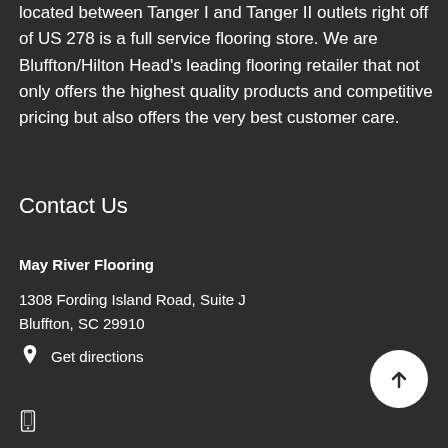located between Tanger I and Tanger II outlets right off of US 278 is a full service flooring store. We are Bluffton/Hilton Head's leading flooring retailer that not only offers the highest quality products and competitive pricing but also offers the very best customer care.
Contact Us
May River Flooring
1308 Fording Island Road, Suite J
Bluffton, SC 29910
Get directions
843-815-6007